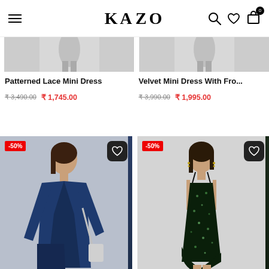KAZO - navigation header with menu, search, wishlist, cart icons
Patterned Lace Mini Dress
₹ 3,490.00  ₹ 1,745.00
Velvet Mini Dress With Fro...
₹ 3,990.00  ₹ 1,995.00
[Figure (photo): Blue patterned wrap dress with long sleeves on a model, -50% badge]
[Figure (photo): Dark green sequin slip dress on a model, -50% badge]
SOLD OUT